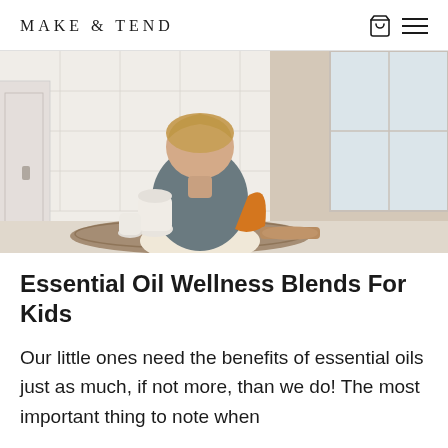MAKE & TEND
[Figure (photo): Young toddler child with blonde hair sitting on the floor from behind, wearing an orange long-sleeve shirt, gray vest/overalls, and printed pants, playing with white ceramic vessels and wooden items on a wicker mat near white kitchen cabinets and a window.]
Essential Oil Wellness Blends For Kids
Our little ones need the benefits of essential oils just as much, if not more, than we do! The most important thing to note when